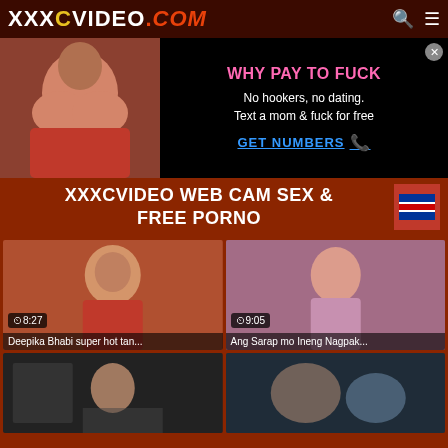XXXCVIDEO.COM
[Figure (photo): Adult website advertisement banner with image on left and text on right reading WHY PAY TO FUCK, No hookers, no dating. Text a mom & fuck for free, GET NUMBERS]
XXXCVIDEO WEB CAM SEX & FREE PORNO
[Figure (photo): Video thumbnail - woman in red clothing, duration 8:27, title: Deepika Bhabi super hot tan...]
[Figure (photo): Video thumbnail - woman in pink shirt smiling, duration 9:05, title: Ang Sarap mo Ineng Nagpak...]
[Figure (photo): Video thumbnail - partially visible, dark scene]
[Figure (photo): Video thumbnail - partially visible, people on bed]